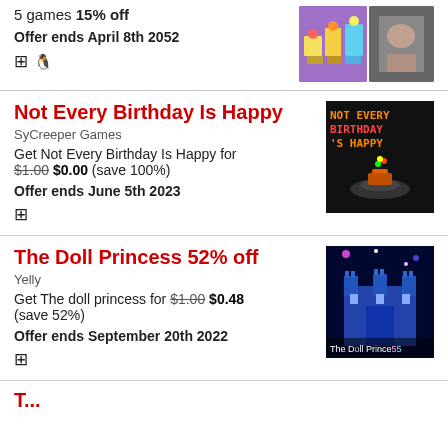5 games 15% off
Offer ends April 8th 2052
Not Every Birthday Is Happy
SyCreeper Games
Get Not Every Birthday Is Happy for $1.00 $0.00 (save 100%)
Offer ends June 5th 2023
[Figure (screenshot): Game screenshot showing 'NOT EVERY BIRTHDAY IS HAPPY' text with a birthday cake on dark background]
The Doll Princess 52% off
Yelly
Get The doll princess for $1.00 $0.48 (save 52%)
Offer ends September 20th 2022
[Figure (screenshot): Game screenshot showing a blue castle building with 'The Doll Princess' text]
T...